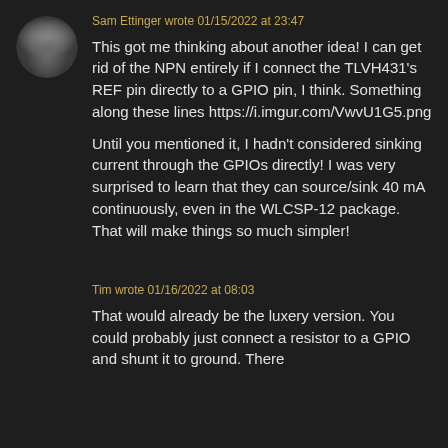Sam Ettinger wrote 01/15/2022 at 23:47
This got me thinking about another idea! I can get rid of the NPN entirely if I connect the TLVH431's REF pin directly to a GPIO pin, I think. Something along these lines https://i.imgur.com/VwvU1G5.png

Until you mentioned it, I hadn't considered sinking current through the GPIOs directly! I was very surprised to learn that they can source/sink 40 mA continuously, even in the WLCSP-12 package. That will make things so much simpler!
Tim wrote 01/16/2022 at 08:03
That would already be the luxery version. You could probably just connect a resistor to a GPIO and shunt it to ground. There